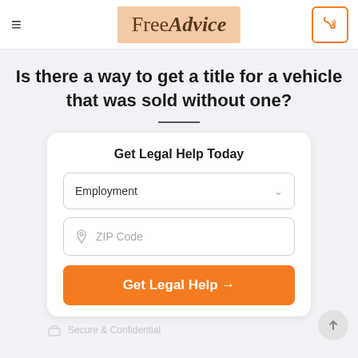FreeAdvice
Is there a way to get a title for a vehicle that was sold without one?
Get Legal Help Today
Employment
ZIP Code
Get Legal Help →